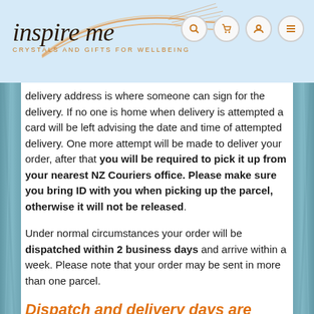[Figure (logo): Inspire Me logo with swoosh graphic and tagline 'CRYSTALS AND GIFTS FOR WELLBEING']
delivery address is where someone can sign for the delivery. If no one is home when delivery is attempted a card will be left advising the date and time of attempted delivery. One more attempt will be made to deliver your order, after that you will be required to pick it up from your nearest NZ Couriers office. Please make sure you bring ID with you when picking up the parcel, otherwise it will not be released.
Under normal circumstances your order will be dispatched within 2 business days and arrive within a week. Please note that your order may be sent in more than one parcel.
Dispatch and delivery days are Monday to Friday